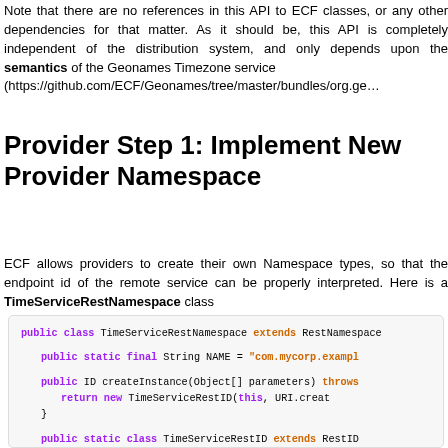Note that there are no references in this API to ECF classes, or any other dependencies for that matter. As it should be, this API is completely independent of the distribution system, and only depends upon the semantics of the Geonames Timezone service (https://github.com/ECF/Geonames/tree/master/bundles/org.ge...
Provider Step 1: Implement New Provider Namespace
ECF allows providers to create their own Namespace types, so that the endpoint id of the remote service can be properly interpreted. Here is a TimeServiceRestNamespace class
[Figure (screenshot): Java code block showing public class TimeServiceRestNamespace extends RestNamespace with static NAME field, createInstance method returning TimeServiceRestID, and inner class TimeServiceRestID extends RestID]